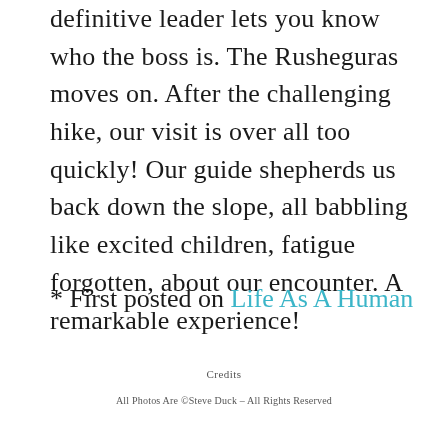definitive leader lets you know who the boss is. The Rusheguras moves on. After the challenging hike, our visit is over all too quickly! Our guide shepherds us back down the slope, all babbling like excited children, fatigue forgotten, about our encounter. A remarkable experience!
* First posted on Life As A Human
Credits
All Photos Are ©Steve Duck – All Rights Reserved